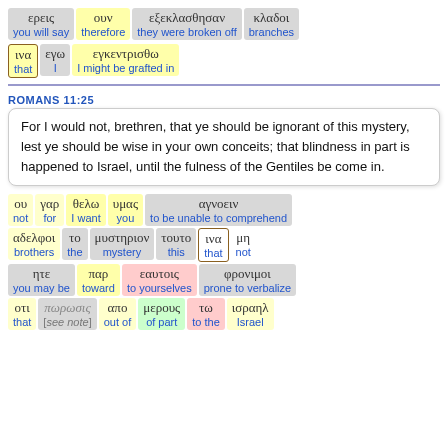[Figure (other): Greek interlinear word blocks: ερεις (you will say), ουν (therefore), εξεκλασθησαν (they were broken off), κλαδοι (branches)]
[Figure (other): Greek interlinear word blocks: ινα (that), εγω (I), εγκεντρισθω (I might be grafted in)]
ROMANS 11:25
For I would not, brethren, that ye should be ignorant of this mystery, lest ye should be wise in your own conceits; that blindness in part is happened to Israel, until the fulness of the Gentiles be come in.
[Figure (other): Greek interlinear word blocks: ου (not), γαρ (for), θελω (I want), υμας (you), αγνοειν (to be unable to comprehend)]
[Figure (other): Greek interlinear word blocks: αδελφοι (brothers), το (the), μυστηριον (mystery), τουτο (this), ινα (that), μη (not)]
[Figure (other): Greek interlinear word blocks: ητε (you may be), παρ (toward), εαυτοις (to yourselves), φρονιμοι (prone to verbalize)]
[Figure (other): Greek interlinear word blocks: οτι (that), πωρωσις ([see note]), απο (out of), μερους (of part), τω (to the), ισραηλ (Israel)]